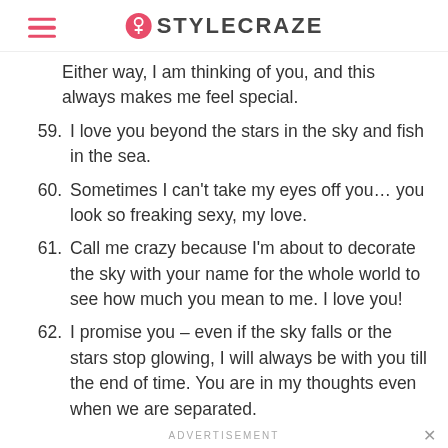STYLECRAZE
Either way, I am thinking of you, and this always makes me feel special.
59. I love you beyond the stars in the sky and fish in the sea.
60. Sometimes I can’t take my eyes off you… you look so freaking sexy, my love.
61. Call me crazy because I’m about to decorate the sky with your name for the whole world to see how much you mean to me. I love you!
62. I promise you – even if the sky falls or the stars stop glowing, I will always be with you till the end of time. You are in my thoughts even when we are separated.
ADVERTISEMENT